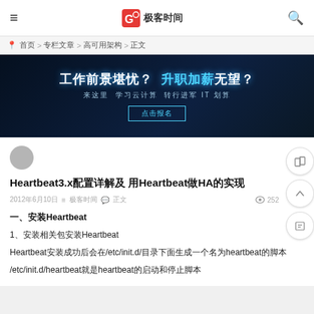≡  [logo] 极客时间  🔍
📍 首页 > 专栏文章 > 高可用架构 > 正文
[Figure (photo): Dark background banner ad with Chinese text: 工作前景堪忧？升职加薪无望？ 来这里 学习云计算 转行进军IT 划算 with a button 点击报名]
Heartbeat3.x配置详解及 用Heartbeat做HA的实现
2012年6月10日  ≡  极客时间  💬 正文  👁 252
一、安装Heartbeat
1、安装相关包安装Heartbeat
Heartbeat安装成功后会在/etc/init.d/目录下面生成一个名为heartbeat的脚本
/etc/init.d/heartbeat就是heartbeat的启动和停止脚本